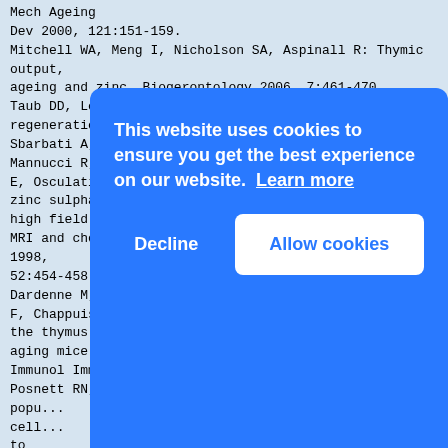Mech Ageing
Dev 2000, 121:151-159.
Mitchell WA, Meng I, Nicholson SA, Aspinall R: Thymic output,
ageing and zinc. Biogerontology 2006, 7:461-470.
Taub DD, Longo DL: Insights into thymic aging and
regeneration. Immunol Rev 2005, 205:72-93.
Sbarbati A, Mocchegiani E, Marzola P, Tibaldi A, Mannucci R, Nicolato
E, Osculati F: Effect of dietary supplementation with
zinc sulphate on the aging process: a study using high field intensity
MRI and chemical shift imaging. Biomed Pharmacother 1998,
52:454-458.
Dardenne M, Boukaiba N, Gagnerault MC, Homo-Delarche
F, Chappuis P, Lemonnier D, Savino W: Restoration of the thymus in
aging mice by in vivo zinc supplementation. Clin
Immunol Immunopathol 1993, 66:127-135.
Posnett RN, Sinha R, Kabak S, Russo C: Clonal
popu...
cell...
to
"ben...
J Ex...
179:...
Ucie...
Mocc...
Dedo...
and
polarization increases with aging and is modulated by
[Figure (screenshot): Cookie consent banner overlay with blue background. Text: 'This website uses cookies to ensure you get the best experience on our website. Learn more'. Buttons: 'Decline' (white text, no background) and 'Allow cookies' (white button with blue text).]